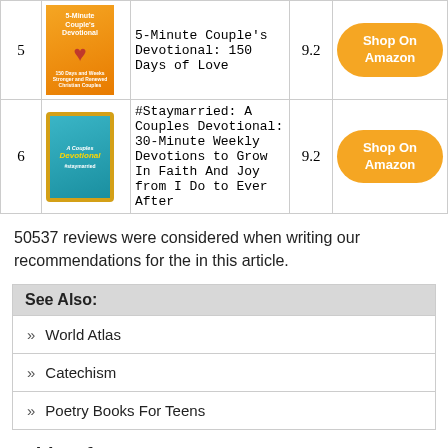| # | Image | Title | Score | Buy |
| --- | --- | --- | --- | --- |
| 5 | [book cover] | 5-Minute Couple's Devotional: 150 Days of Love | 9.2 | Shop On Amazon |
| 6 | [book cover] | #Staymarried: A Couples Devotional: 30-Minute Weekly Devotions to Grow In Faith And Joy from I Do to Ever After | 9.2 | Shop On Amazon |
50537 reviews were considered when writing our recommendations for the in this article.
See Also:
» World Atlas
» Catechism
» Poetry Books For Teens
Table Of Content:
21 Prayers For My Future Husband: Preparing My Heart